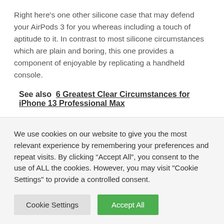Right here's one other silicone case that may defend your AirPods 3 for you whereas including a touch of aptitude to it. In contrast to most silicone circumstances which are plain and boring, this one provides a component of enjoyable by replicating a handheld console.
See also  6 Greatest Clear Circumstances for iPhone 13 Professional Max
We use cookies on our website to give you the most relevant experience by remembering your preferences and repeat visits. By clicking "Accept All", you consent to the use of ALL the cookies. However, you may visit "Cookie Settings" to provide a controlled consent.